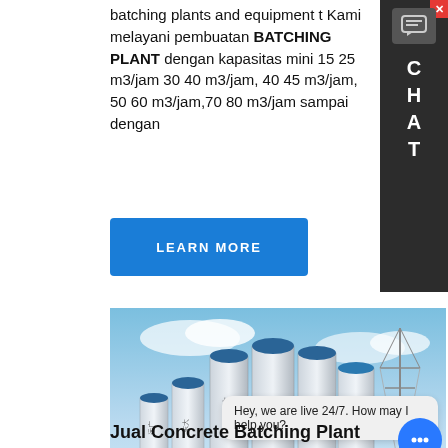batching plants and equipment t Kami melayani pembuatan BATCHING PLANT dengan kapasitas mini 15 25 m3/jam 30 40 m3/jam, 40 45 m3/jam, 50 60 m3/jam,70 80 m3/jam sampai dengan
[Figure (other): Blue chat icon in a dark sidebar with letters C H A T]
[Figure (photo): Industrial concrete batching plant with tall white and blue silos against a blue sky background, with Chinese characters on the silos.]
Hey, we are live 24/7. How may I help you?
Jual Concrete Batching Plant